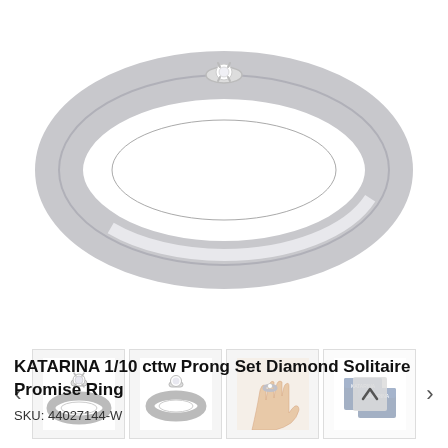[Figure (photo): Close-up top view of a silver/white gold diamond solitaire promise ring showing the band and small diamond setting from above]
[Figure (photo): Thumbnail gallery with 4 product images: front-angled view of ring, side view of ring, ring on hand, and product packaging in navy blue boxes. Left and right navigation arrows flank the thumbnails.]
KATARINA 1/10 cttw Prong Set Diamond Solitaire Promise Ring
SKU: 44027144-W